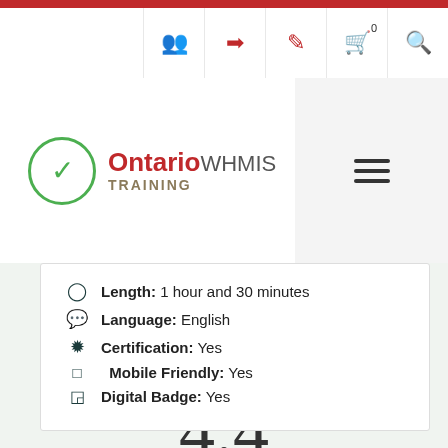[Figure (logo): Ontario WHMIS Training logo with green checkmark circle]
Length: 1 hour and 30 minutes
Language: English
Certification: Yes
Mobile Friendly: Yes
Digital Badge: Yes
4.4